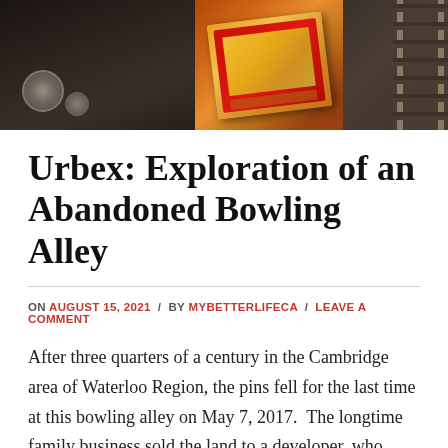[Figure (photo): Banner photo showing abandoned bowling alley items including a food/snack box and film strip detail, dark moody tones]
Urbex: Exploration of an Abandoned Bowling Alley
ON AUGUST 15, 2021 / BY MYBETTERLIFECA / LEAVE A COMMENT
After three quarters of a century in the Cambridge area of Waterloo Region, the pins fell for the last time at this bowling alley on May 7, 2017.  The longtime family business sold the land to a developer, who plans to build apartments.  The developer ran into financial problems